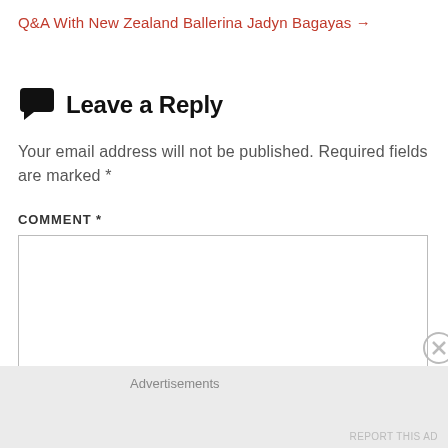Q&A With New Zealand Ballerina Jadyn Bagayas →
Leave a Reply
Your email address will not be published. Required fields are marked *
COMMENT *
Advertisements
REPORT THIS AD